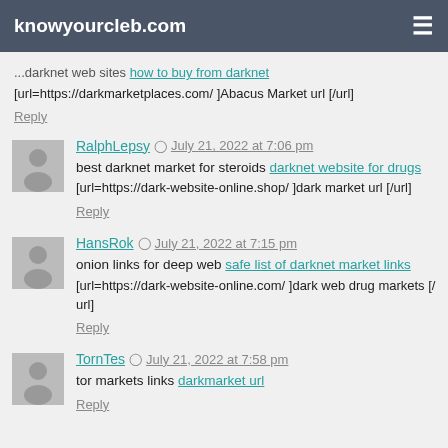knowyourcleb.com
[url=https://darkmarketplaces.com/ ]Abacus Market url [/url]
Reply
RalphLepsy  July 21, 2022 at 7:06 pm
best darknet market for steroids darknet website for drugs
[url=https://dark-website-online.shop/ ]dark market url [/url]
Reply
HansRok  July 21, 2022 at 7:15 pm
onion links for deep web safe list of darknet market links
[url=https://dark-website-online.com/ ]dark web drug markets [/url]
Reply
TornTes  July 21, 2022 at 7:58 pm
tor markets links darkmarket url
Reply